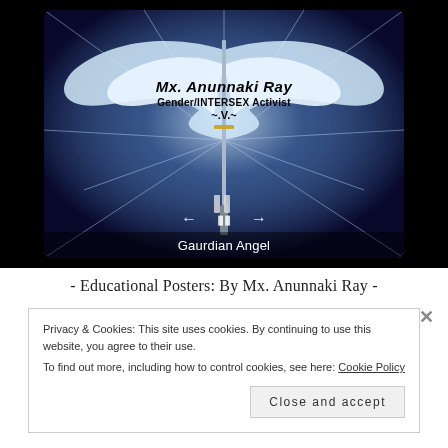[Figure (illustration): A fantasy/digital art image showing a guardian angel figure with large white wings spread wide, holding a sword. Text overlay reads 'Mx. Anunnaki Ray Gender/INTERSEX Activist ~.V.~'. Navigation arrows and a caption 'Gaurdian Angel' appear at the bottom of the image. The background is dark with blue/white geometric light patterns.]
Gaurdian Angel
- Educational Posters: By Mx. Anunnaki Ray -
Privacy & Cookies: This site uses cookies. By continuing to use this website, you agree to their use.
To find out more, including how to control cookies, see here: Cookie Policy